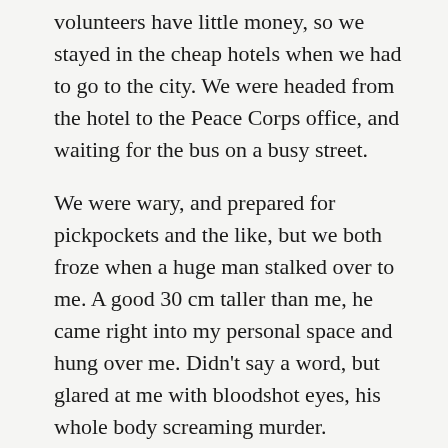volunteers have little money, so we stayed in the cheap hotels when we had to go to the city. We were headed from the hotel to the Peace Corps office, and waiting for the bus on a busy street.
We were wary, and prepared for pickpockets and the like, but we both froze when a huge man stalked over to me. A good 30 cm taller than me, he came right into my personal space and hung over me. Didn’t say a word, but glared at me with bloodshot eyes, his whole body screaming murder.
I blinked at him for a moment, waiting for him to say something, threaten me, whatever. When it was clear he wasn’t going to, I smiled and said good morning to him. This elicited a grudging good morning back, but didn’t soften his stance.